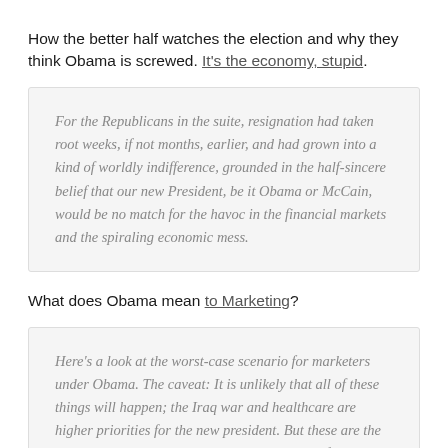How the better half watches the election and why they think Obama is screwed. It's the economy, stupid.
For the Republicans in the suite, resignation had taken root weeks, if not months, earlier, and had grown into a kind of worldly indifference, grounded in the half-sincere belief that our new President, be it Obama or McCain, would be no match for the havoc in the financial markets and the spiraling economic mess.
What does Obama mean to Marketing?
Here's a look at the worst-case scenario for marketers under Obama. The caveat: It is unlikely that all of these things will happen; the Iraq war and healthcare are higher priorities for the new president. But these are the issues that will likely be debated over the next few years.